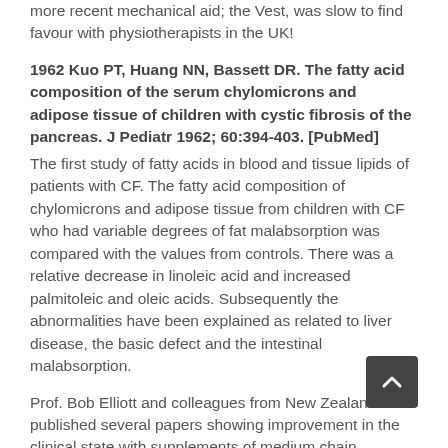more recent mechanical aid; the Vest, was slow to find favour with physiotherapists in the UK!
1962 Kuo PT, Huang NN, Bassett DR. The fatty acid composition of the serum chylomicrons and adipose tissue of children with cystic fibrosis of the pancreas. J Pediatr 1962; 60:394-403. [PubMed]
The first study of fatty acids in blood and tissue lipids of patients with CF. The fatty acid composition of chylomicrons and adipose tissue from children with CF who had variable degrees of fat malabsorption was compared with the values from controls. There was a relative decrease in linoleic acid and increased palmitoleic and oleic acids. Subsequently the abnormalities have been explained as related to liver disease, the basic defect and the intestinal malabsorption.
Prof. Bob Elliott and colleagues from New Zealand published several papers showing improvement in the clinical state with supplements of medium chain triglycerides to the extent of returning the sweat electrolytes to nearer normal values (Elliott RB. Aust Paediatr J 1972; 8:217. below: Elliott